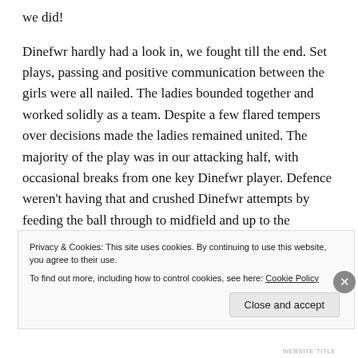we did!
Dinefwr hardly had a look in, we fought till the end. Set plays, passing and positive communication between the girls were all nailed. The ladies bounded together and worked solidly as a team. Despite a few flared tempers over decisions made the ladies remained united. The majority of the play was in our attacking half, with occasional breaks from one key Dinefwr player. Defence weren't having that and crushed Dinefwr attempts by feeding the ball through to midfield and up to the forwards.
Privacy & Cookies: This site uses cookies. By continuing to use this website, you agree to their use. To find out more, including how to control cookies, see here: Cookie Policy
Close and accept